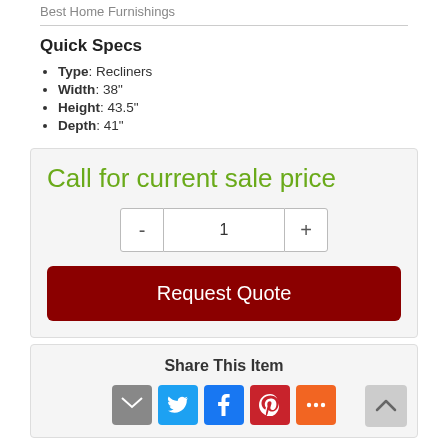Best Home Furnishings
Quick Specs
Type: Recliners
Width: 38"
Height: 43.5"
Depth: 41"
Call for current sale price
Request Quote
Share This Item